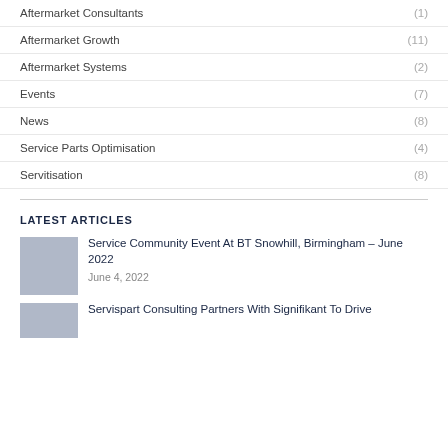Aftermarket Consultants (1)
Aftermarket Growth (11)
Aftermarket Systems (2)
Events (7)
News (8)
Service Parts Optimisation (4)
Servitisation (8)
LATEST ARTICLES
Service Community Event At BT Snowhill, Birmingham – June 2022
June 4, 2022
Servispart Consulting Partners With Signifikant To Drive